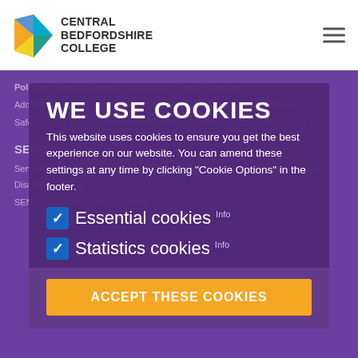[Figure (logo): Central Bedfordshire College logo with geometric arrow/star shape in orange, yellow, blue and teal colors, with college name in bold dark text]
Policies   Equality, Diversity & Inclusion   Data Protection   Additional Learning Support   Equality & Diversity Policy   Ofsted Report   Safeguarding   16-18 Performance Tables   Gender Pay Gap Report 2019   SEND   Services for children and young people with Special Educational Needs and/or a Disability (SEND)   SEND Local Offer Luton Directory
WE USE COOKIES
This website uses cookies to ensure you get the best experience on our website. You can amend these settings at any time by clicking "Cookie Options" in the footer.
✓ Essential cookies Info
✓ Statistics cookies Info
ACCEPT THESE COOKIES